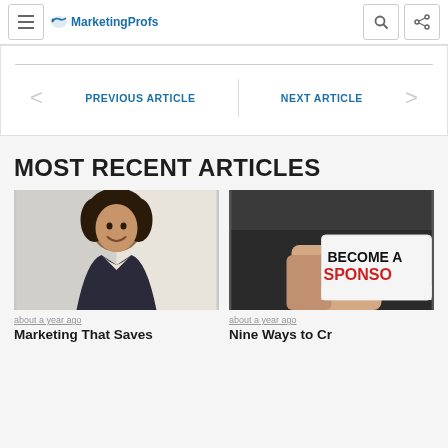MarketingProfs
PREVIOUS ARTICLE | NEXT ARTICLE
MOST RECENT ARTICLES
[Figure (photo): Professional woman smiling, wearing a dark blazer]
about a year ago
Marketing That Saves
[Figure (photo): Person in suit holding a card that reads BECOME A SPONSOR]
about a year ago
Nine Ways to Cr